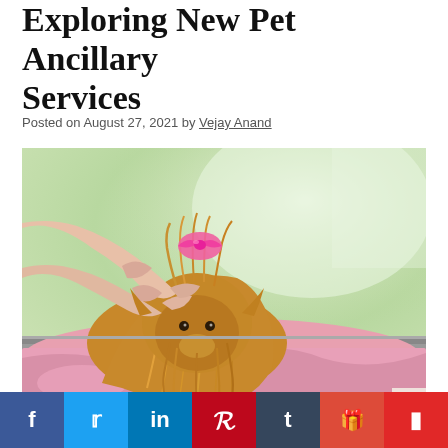Exploring New Pet Ancillary Services
Posted on August 27, 2021 by Vejay Anand
[Figure (photo): A Yorkshire Terrier dog being groomed with a pink bow being placed in its hair, lying on a pink towel on a grooming table, blurred green background.]
Pet insurance ancillary services related text (partially visible)
Social share bar: Facebook, Twitter, LinkedIn, Pinterest, Tumblr, Google, Flipboard